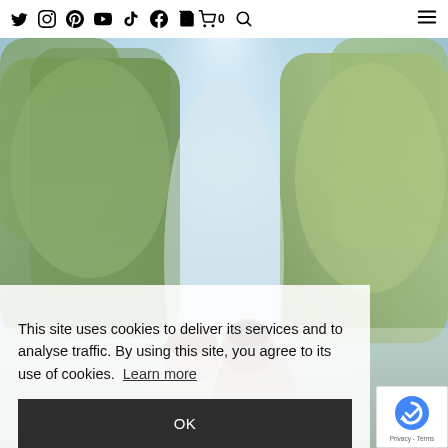[Social icons: Twitter, Instagram, Pinterest, YouTube, TikTok, Facebook, Cart 0, Search] [Menu icon]
[Figure (photo): Wedding couple from behind in a garden with tall trees and soft light, misty romantic outdoor scene]
This site uses cookies to deliver its services and to analyse traffic. By using this site, you agree to its use of cookies. Learn more
OK
[Figure (logo): Google reCAPTCHA badge with Privacy and Terms links]